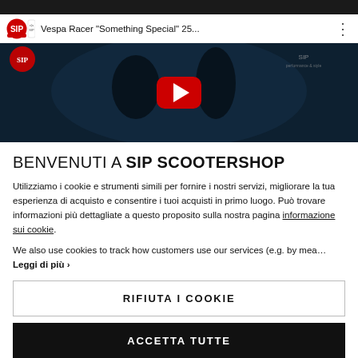[Figure (screenshot): YouTube video thumbnail showing SIP Scooterhaus video titled 'Vespa Racer "Something Special" 25...' with a dark atmospheric image of a Vespa and a red play button in the center.]
BENVENUTI A SIP SCOOTERSHOP
Utilizziamo i cookie e strumenti simili per fornire i nostri servizi, migliorare la tua esperienza di acquisto e consentire i tuoi acquisti in primo luogo. Può trovare informazioni più dettagliate a questo proposito sulla nostra pagina informazione sui cookie.
We also use cookies to track how customers use our services (e.g. by mea… Leggi di più ›
RIFIUTA I COOKIE
ACCETTA TUTTE